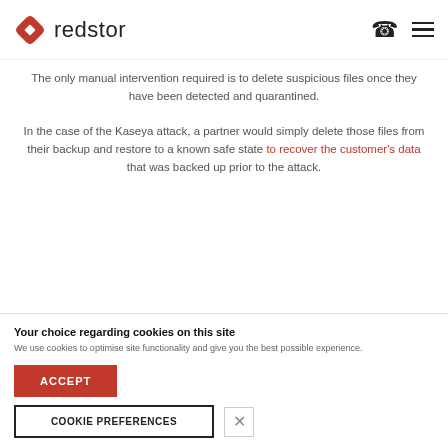[Figure (logo): Redstor logo with red star/asterisk icon and 'redstor' wordmark, plus phone and hamburger menu icons in header]
The only manual intervention required is to delete suspicious files once they have been detected and quarantined.
In the case of the Kaseya attack, a partner would simply delete those files from their backup and restore to a known safe state to recover the customer's data that was backed up prior to the attack.
Your choice regarding cookies on this site
We use cookies to optimise site functionality and give you the best possible experience.
ACCEPT
COOKIE PREFERENCES